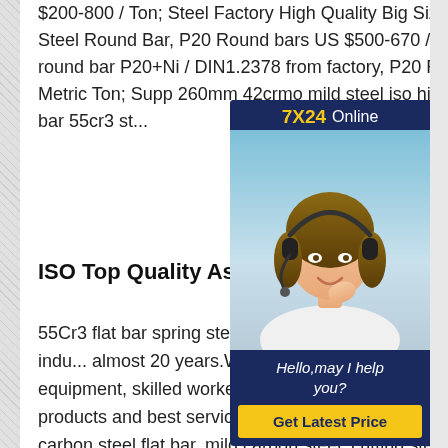$200-800 / Ton; Steel Factory High Quality Big Size P20+Ni 1.2738 Steel Round Bar, P20 Round bars US $500-670 / Ton; Plastic die steel round bar P20+Ni / DIN1.2378 from factory, P20 Round ... US $500-1500 / Metric Ton; Supp 260mm 42crmo mild steel iso hig hot rolled 5160 steel bar 55cr3 st...
[Figure (photo): Chat widget overlay with 7X24 Online label, photo of woman with headset, greeting text 'Hello, may I help you?' and a 'Get Latest Price' button]
ISO Top Quality Astm 5160 Steel...
55Cr3 flat bar spring steel 5155 S... 55Cr3 has dedicated in steel indu... almost 20 years.With rigorous quality control, advanced equipment, skilled workers, we supply you with our high quality products and best service. Our products includes Spring Steel, high carbon steel flat bar, mild carbon steel, cutting steelGood Price for ASTM...